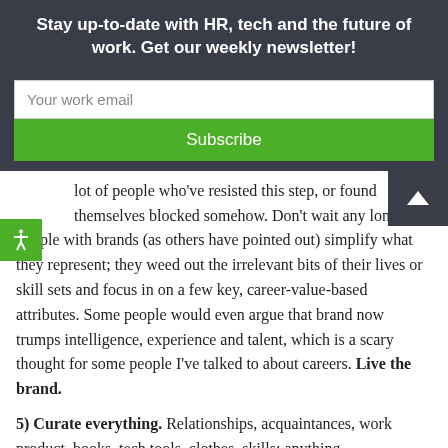Stay up-to-date with HR, tech and the future of work. Get our weekly newsletter!
Your work email
Subscribe
lot of people who've resisted this step, or found themselves blocked somehow. Don't wait any longer. People with brands (as others have pointed out) simplify what they represent; they weed out the irrelevant bits of their lives or skill sets and focus in on a few key, career-value-based attributes. Some people would even argue that brand now trumps intelligence, experience and talent, which is a scary thought for some people I've talked to about careers. Live the brand.
5) Curate everything. Relationships, acquaintances, work product, books, tech tools, clothes, skills; anything